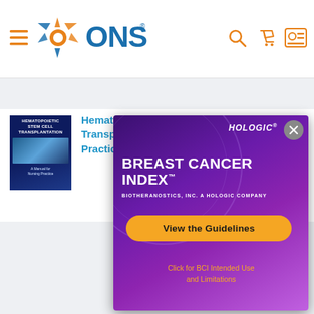[Figure (logo): ONS (Oncology Nursing Society) logo with orange sunburst icon and blue 'ONS' text, plus navigation icons (hamburger menu, search, cart, profile)]
[Figure (illustration): Book cover for Hematopoietic Stem Cell Transplantation: A Manual for Nursing Practice, dark blue background with title text]
Hematopoietic Stem Cell Transplantation: A Manual for Nursing Practice (1)
[Figure (infographic): Hologic advertisement overlay with purple gradient background. Shows BREAST CANCER INDEX™ by BIOTHERANOSTICS, INC. A HOLOGIC COMPANY, with a yellow 'View the Guidelines' button and orange text 'Click for BCI Intended Use and Limitations'. Close (X) button in top right.]